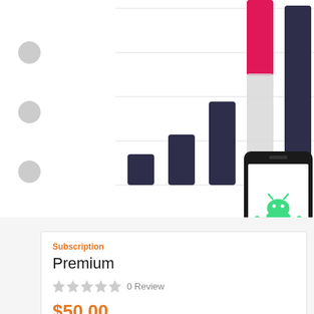[Figure (bar-chart): Partial bar chart showing multiple dark navy/purple bars of increasing height, with a pink/red bar and a light gray bar visible. An Android phone device image overlays the bottom-right corner.]
Subscription
Premium
0 Review
$50.00